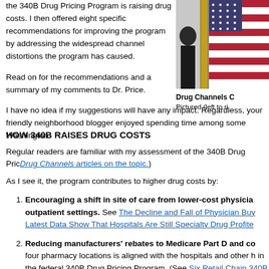the 340B Drug Pricing Program is raising drug costs. I then offered eight specific recommendations for improving the program by addressing the widespread channel distortions the program has caused.
[Figure (photo): Photo of a person standing in front of American flags in a government or official setting.]
Drug Channels C...
Pictured (left to ri...
Read on for the recommendations and a summary of my comments to Dr. Price.
I have no idea if my suggestions will have any impact. Regardless, your friendly neighborhood blogger enjoyed spending time among some Washington...
HOW 340B RAISES DRUG COSTS
Regular readers are familiar with my assessment of the 340B Drug Pric... Drug Channels articles on the topic.)
As I see it, the program contributes to higher drug costs by:
Encouraging a shift in site of care from lower-cost physician... outpatient settings. See The Decline and Fall of Physician Buy... Latest Data Show That Hospitals Are Still Specialty Drug Profite...
Reducing manufacturers' rebates to Medicare Part D and co... four pharmacy locations is aligned with the hospitals and other h... in the federal 340B Drug Pricing Program. (See Six Retail Chain... 340B Contract Pharmacy Business.) Pharmaceutical manufacto...